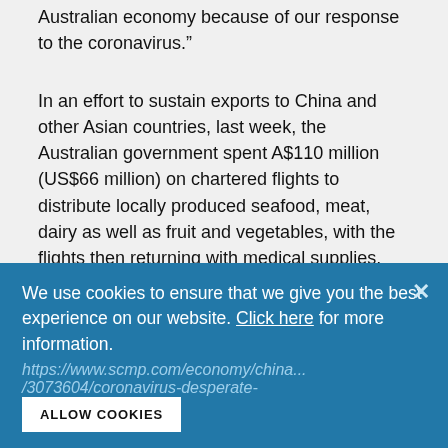Australian economy because of our response to the coronavirus.”
In an effort to sustain exports to China and other Asian countries, last week, the Australian government spent A$110 million (US$66 million) on chartered flights to distribute locally produced seafood, meat, dairy as well as fruit and vegetables, with the flights then returning with medical supplies.
“Even during Covid-19, China proves to be the go-to market,” said Senger at CDI Global. “But it also means the world must find new ways to work with each other.”
We use cookies to ensure that we give you the best experience on our website. Click here for more information.
https://www.scmp.com/economy/china...
/3073604/coronavirus-desperate-